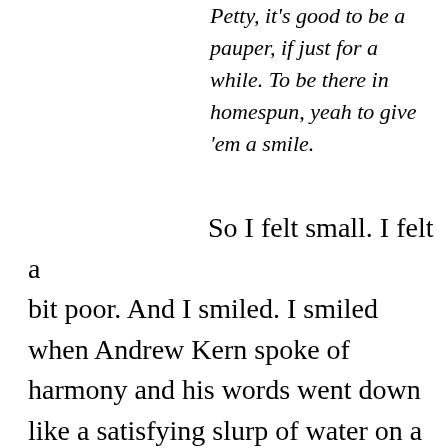Petty, it's good to be a pauper, if just for a while. To be there in homespun, yeah to give 'em a smile.
So I felt small. I felt a bit poor. And I smiled. I smiled when Andrew Kern spoke of harmony and his words went down like a satisfying slurp of water on a hot walk through Charleston. I smiled when I met Matt, a mischievous and wise guy. I smile meeting Kobi and Brandon, ordinary parents like us who had